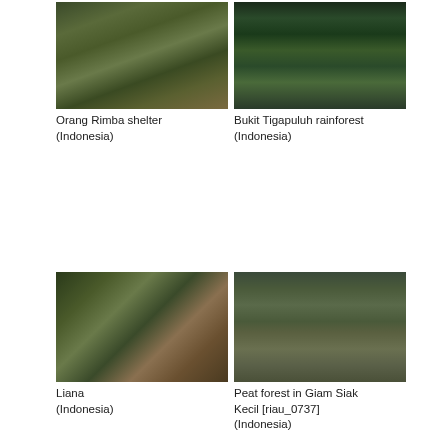[Figure (photo): Orang Rimba shelter in Indonesian rainforest, dense vegetation and forest floor]
Orang Rimba shelter (Indonesia)
[Figure (photo): Bukit Tigapuluh rainforest in Indonesia, tall trees with palm understorey]
Bukit Tigapuluh rainforest (Indonesia)
[Figure (photo): Liana plant in Indonesian forest with large palm fronds and reddish-brown vine stems]
Liana (Indonesia)
[Figure (photo): Aerial view of peat forest in Giam Siak Kecil, Indonesia, misty green canopy]
Peat forest in Giam Siak Kecil [riau_0737] (Indonesia)